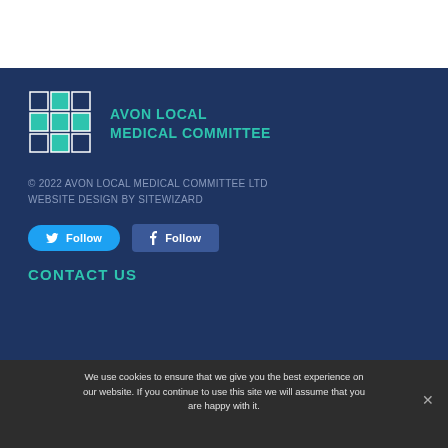[Figure (logo): Avon Local Medical Committee logo — 3x3 grid of squares alternating dark navy and teal, with white border outline]
AVON LOCAL MEDICAL COMMITTEE
© 2022 AVON LOCAL MEDICAL COMMITTEE LTD WEBSITE DESIGN BY SITEWIZARD
[Figure (other): Twitter Follow button (blue rounded) and Facebook Follow button (dark blue square)]
CONTACT US
We use cookies to ensure that we give you the best experience on our website. If you continue to use this site we will assume that you are happy with it.
Ok